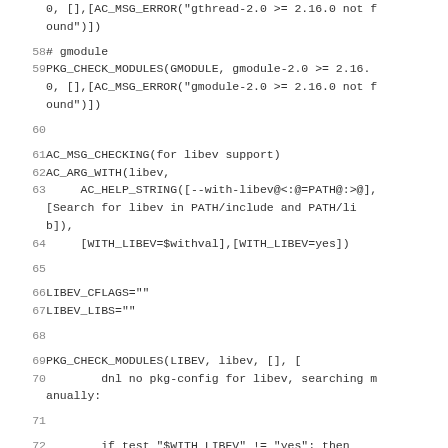Code snippet lines 57-73 of a configure.ac or similar autoconf build script, showing PKG_CHECK_MODULES for gmodule, AC_MSG_CHECKING for libev support, AC_ARG_WITH(libev, AC_HELP_STRING, PKG_CHECK_MODULES(LIBEV...) and related shell script lines.